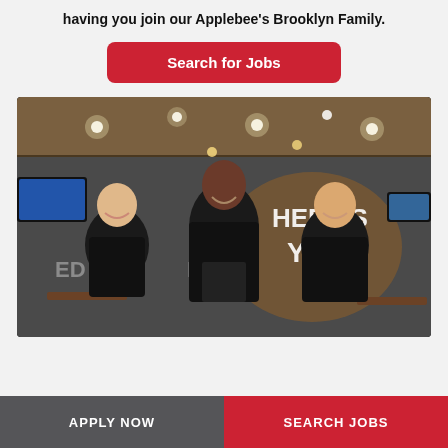having you join our Applebee's Brooklyn Family.
[Figure (other): Red rounded button labeled 'Search for Jobs']
[Figure (photo): Three Applebee's restaurant employees in black uniforms laughing together inside an Applebee's restaurant with track lighting, TVs, and wooden decor visible in the background.]
APPLY NOW
SEARCH JOBS